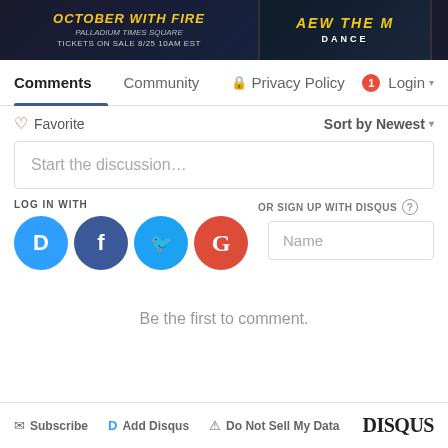[Figure (screenshot): Banner images showing event advertisements: 'October With Fire' at Palladium Times Square with tickets on sale 8/25 10am EST, and AEW The m Dance event]
Comments | Community | Privacy Policy | 1 | Login
♡ Favorite   Sort by Newest ▾
Start the discussion…
LOG IN WITH
OR SIGN UP WITH DISQUS ?
Name
Be the first to comment.
Subscribe   Add Disqus   Do Not Sell My Data   DISQUS